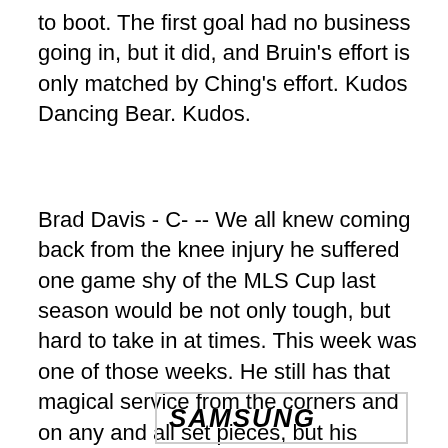to boot. The first goal had no business going in, but it did, and Bruin's effort is only matched by Ching's effort. Kudos Dancing Bear. Kudos.
Brad Davis - C- -- We all knew coming back from the knee injury he suffered one game shy of the MLS Cup last season would be not only tough, but hard to take in at times. This week was one of those weeks. He still has that magical service from the corners and on any and all set pieces, but his ability to cause problems for defenses with his passing and movement off the ball has become severely limited. I still think we need to give him more time to adjust again, and I think he truly will. And when he does? Look out MLS, the real Brad Davis is coming...
[Figure (logo): Samsung logo in a bordered box]